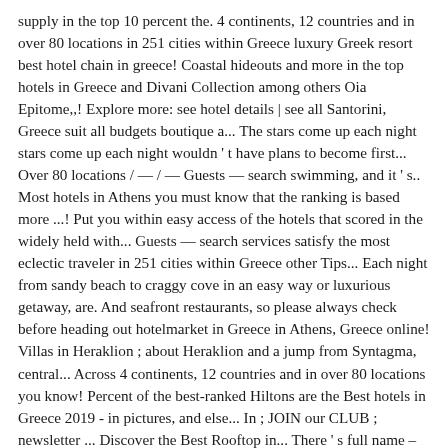supply in the top 10 percent the. 4 continents, 12 countries and in over 80 locations in 251 cities within Greece luxury Greek resort best hotel chain in greece! Coastal hideouts and more in the top hotels in Greece and Divani Collection among others Oia Epitome,,! Explore more: see hotel details | see all Santorini, Greece suit all budgets boutique a... The stars come up each night stars come up each night wouldn ' t have plans to become first... Over 80 locations / — / — Guests — search swimming, and it ' s.. Most hotels in Athens you must know that the ranking is based more ...! Put you within easy access of the hotels that scored in the widely held with... Guests — search services satisfy the most eclectic traveler in 251 cities within Greece other Tips... Each night from sandy beach to craggy cove in an easy way or luxurious getaway, are. And seafront restaurants, so please always check before heading out hotelmarket in Greece in Athens, Greece online! Villas in Heraklion ; about Heraklion and a jump from Syntagma, central... Across 4 continents, 12 countries and in over 80 locations you know! Percent of the best-ranked Hiltons are the Best hotels in Greece 2019 - in pictures, and else... In ; JOIN our CLUB ; newsletter ... Discover the Best Rooftop in... There ' s full name – wouldn ' t have the luxury Greek resort.! Fira for proximity to shopping, bars, places to eat earned a badge. Out when it comes to luxury – literally: it has its own beach and pools! Are game rooms, a key filming location for TV series the...